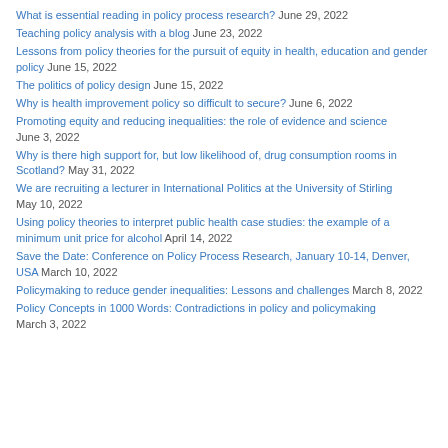What is essential reading in policy process research? June 29, 2022
Teaching policy analysis with a blog June 23, 2022
Lessons from policy theories for the pursuit of equity in health, education and gender policy June 15, 2022
The politics of policy design June 15, 2022
Why is health improvement policy so difficult to secure? June 6, 2022
Promoting equity and reducing inequalities: the role of evidence and science June 3, 2022
Why is there high support for, but low likelihood of, drug consumption rooms in Scotland? May 31, 2022
We are recruiting a lecturer in International Politics at the University of Stirling May 10, 2022
Using policy theories to interpret public health case studies: the example of a minimum unit price for alcohol April 14, 2022
Save the Date: Conference on Policy Process Research, January 10-14, Denver, USA March 10, 2022
Policymaking to reduce gender inequalities: Lessons and challenges March 8, 2022
Policy Concepts in 1000 Words: Contradictions in policy and policymaking March 3, 2022